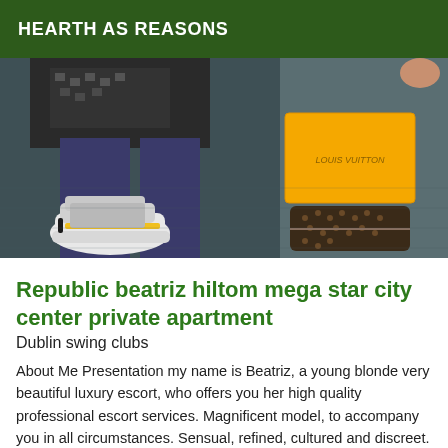HEARTH AS REASONS
[Figure (photo): Photo of a person's feet wearing chunky white sneakers with yellow accents, sitting on a blue-grey carpet next to a Louis Vuitton wallet and a yellow Louis Vuitton box]
Republic beatriz hiltom mega star city center private apartment
Dublin swing clubs
About Me Presentation my name is Beatriz, a young blonde very beautiful luxury escort, who offers you her high quality professional escort services. Magnificent model, to accompany you in all circumstances. Sensual, refined, cultured and discreet. I practice everything and I